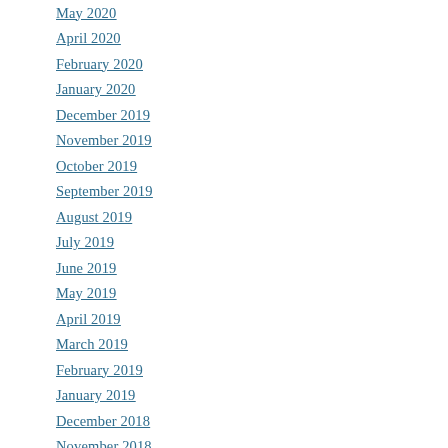May 2020
April 2020
February 2020
January 2020
December 2019
November 2019
October 2019
September 2019
August 2019
July 2019
June 2019
May 2019
April 2019
March 2019
February 2019
January 2019
December 2018
November 2018